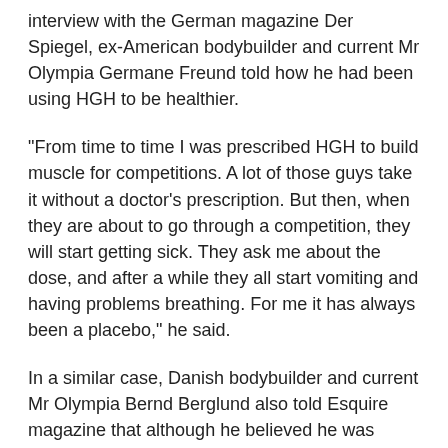interview with the German magazine Der Spiegel, ex-American bodybuilder and current Mr Olympia Germane Freund told how he had been using HGH to be healthier.
"From time to time I was prescribed HGH to build muscle for competitions. A lot of those guys take it without a doctor's prescription. But then, when they are about to go through a competition, they will start getting sick. They ask me about the dose, and after a while they all start vomiting and having problems breathing. For me it has always been a placebo," he said.
In a similar case, Danish bodybuilder and current Mr Olympia Bernd Berglund also told Esquire magazine that although he believed he was taking steroids, he didn't take any steroids until later due to fear of contracting HGH. According to a 2015 study published in